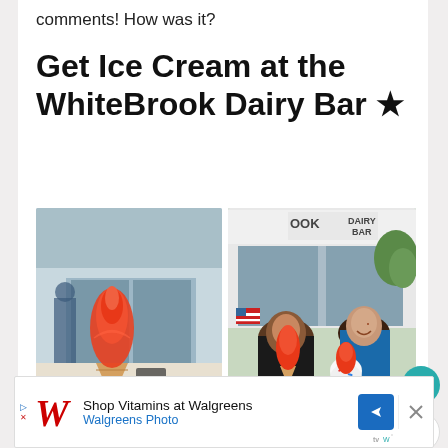comments! How was it?
Get Ice Cream at the WhiteBrook Dairy Bar ★
[Figure (photo): A hand holding up a red/orange swirl soft serve ice cream cone outdoors in front of a building with glass doors; people visible in background.]
[Figure (photo): Two young women smiling and holding ice cream cones outside the WhiteBrook Dairy Bar storefront; American flag visible in background; sign reading 'OOK DAIRY BAR' visible above entrance.]
Shop Vitamins at Walgreens Walgreens Photo